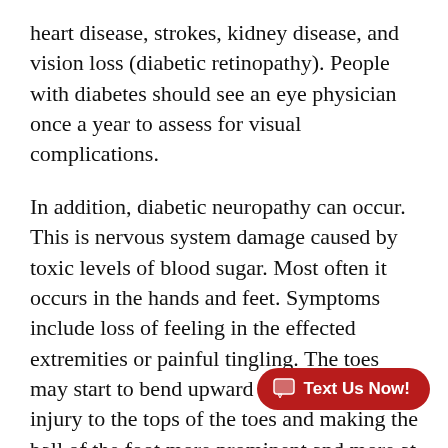heart disease, strokes, kidney disease, and vision loss (diabetic retinopathy). People with diabetes should see an eye physician once a year to assess for visual complications.
In addition, diabetic neuropathy can occur. This is nervous system damage caused by toxic levels of blood sugar. Most often it occurs in the hands and feet. Symptoms include loss of feeling in the effected extremities or painful tingling. The toes may start to bend upward causing more injury to the tops of the toes and making the ball of the foot more prominent and more at risk for injury due to pressure. The risk for injury to the feet injury to the feet can cause a wound not to